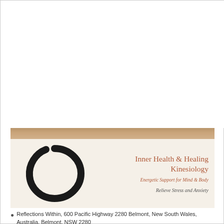[Figure (illustration): Business card for Inner Health & Healing Kinesiology. Top strip shows a photo of a person. Below is a cream/beige card with an enso (zen circle) brush stroke on the left, and on the right the business name 'Inner Health & Healing Kinesiology', tagline 'Energetic Support for Mind & Body', and secondary tagline 'Relieve Stress and Anxiety'.]
Reflections Within, 600 Pacific Highway 2280 Belmont, New South Wales, Australia, Belmont, NSW 2280